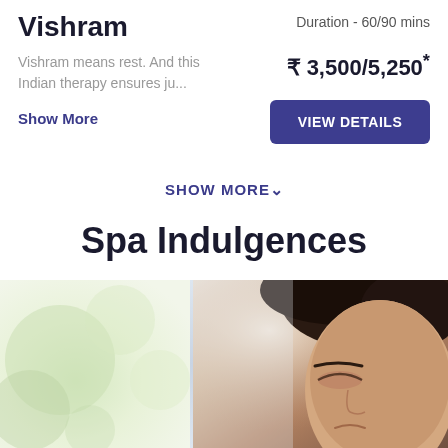Vishram
Duration - 60/90 mins
Vishram means rest. And this Indian therapy ensures ju...
₹ 3,500/5,250*
Show More
VIEW DETAILS
SHOW MORE ∨
Spa Indulgences
[Figure (photo): Split image: left side shows a soft-focus green outdoor scene, right side shows a woman with short dark hair, eyes closed, in a serene spa setting]